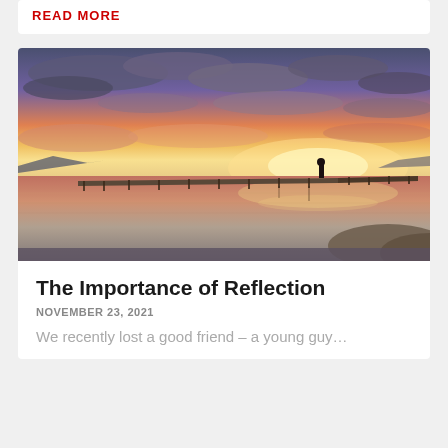READ MORE
[Figure (photo): A person standing on a long pier/boardwalk extending over calm water at sunset, with dramatic purple and orange clouds reflected in the water]
The Importance of Reflection
NOVEMBER 23, 2021
We recently lost a good friend – a young guy…